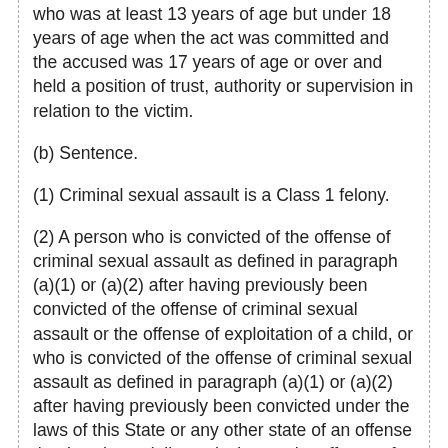(a) commits an act of sexual penetration with a victim who was at least 13 years of age but under 18 years of age when the act was committed and the accused was 17 years of age or over and held a position of trust, authority or supervision in relation to the victim.
(b) Sentence.
(1) Criminal sexual assault is a Class 1 felony.
(2) A person who is convicted of the offense of criminal sexual assault as defined in paragraph (a)(1) or (a)(2) after having previously been convicted of the offense of criminal sexual assault or the offense of exploitation of a child, or who is convicted of the offense of criminal sexual assault as defined in paragraph (a)(1) or (a)(2) after having previously been convicted under the laws of this State or any other state of an offense that is substantially equivalent to the offense of criminal sexual assault or to the offense